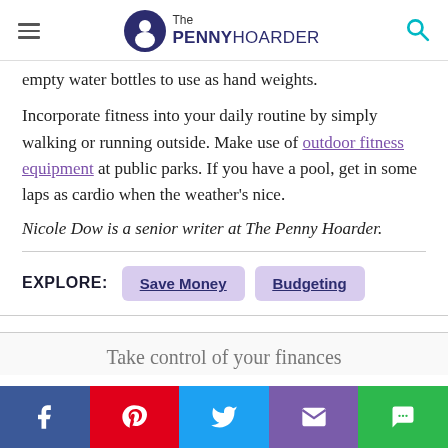The PENNY HOARDER
empty water bottles to use as hand weights.
Incorporate fitness into your daily routine by simply walking or running outside. Make use of outdoor fitness equipment at public parks. If you have a pool, get in some laps as cardio when the weather's nice.
Nicole Dow is a senior writer at The Penny Hoarder.
EXPLORE:  Save Money  Budgeting
Take control of your finances